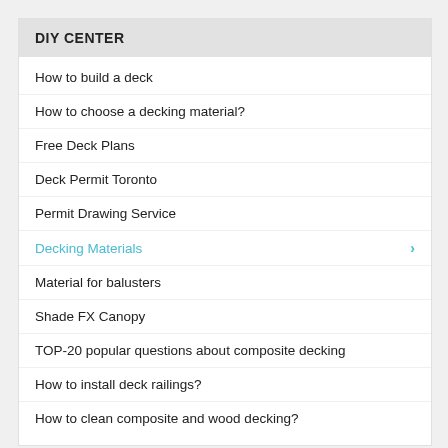DIY CENTER
How to build a deck
How to choose a decking material?
Free Deck Plans
Deck Permit Toronto
Permit Drawing Service
Decking Materials
Material for balusters
Shade FX Canopy
TOP-20 popular questions about composite decking
How to install deck railings?
How to clean composite and wood decking?